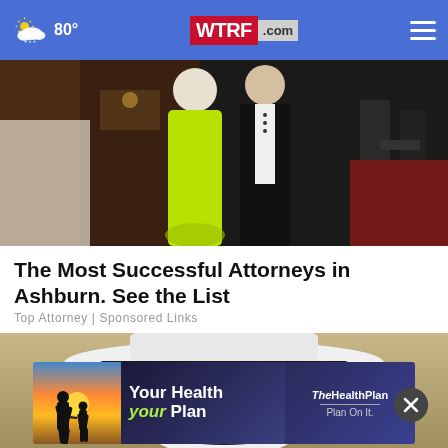80° WTRF.com
[Figure (photo): Two people at an event, one wearing a neon green/yellow dress and one in a dark suit, standing in a banquet-style room]
The Most Successful Attorneys in Ashburn. See the List
Top Attorney | Sponsored Links
[Figure (photo): Close-up of what appears to be a snowman or person wearing a white hat with a dark band, partial face visible]
[Figure (advertisement): Your Health your Plan - TheHealthPlan - Plan On It. Advertisement banner with silhouettes of people at sunset]